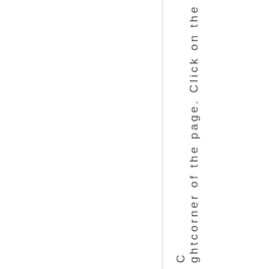ghtcorner of the page. Click on the C